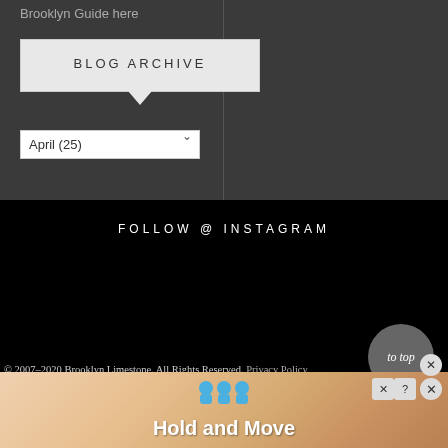Brooklyn Guide here
BLOG ARCHIVE
April (25)
FOLLOW @ INSTAGRAM
© 2007–2020 Brooklyn Limestone. All Rights Reserved. Privacy Policy
Template by LucaLogos.com
[Figure (screenshot): Advertisement banner showing 'Hold and Move' with blue character icons on a wooden background, with close and help buttons]
to top